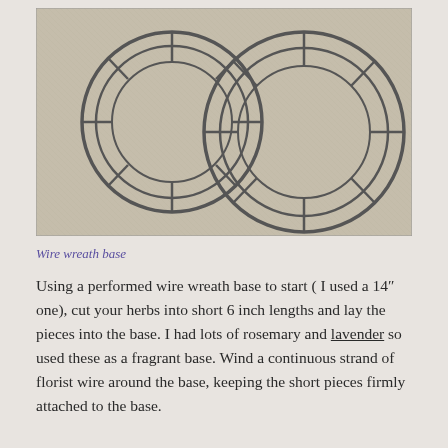[Figure (photo): Two wire wreath frames/bases lying flat on a textured burlap or linen surface. The left frame is smaller and the right frame is larger. Both are circular wire forms with multiple concentric rings and wire cross-supports.]
Wire wreath base
Using a performed wire wreath base to start ( I used a 14″ one), cut your herbs into short 6 inch lengths and lay the pieces into the base. I had lots of rosemary and lavender so used these as a fragrant base. Wind a continuous strand of florist wire around the base, keeping the short pieces firmly attached to the base.